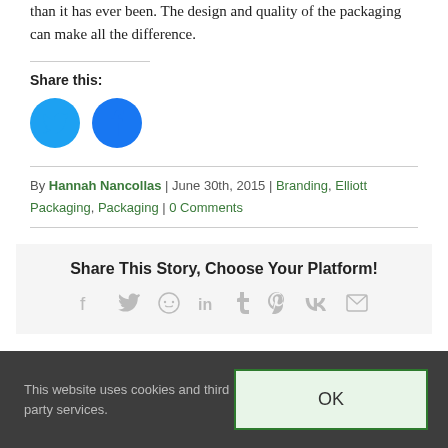than it has ever been. The design and quality of the packaging can make all the difference.
Share this:
[Figure (illustration): Two circular social media share buttons: Twitter (light blue) and Facebook (dark blue)]
By Hannah Nancollas | June 30th, 2015 | Branding, Elliott Packaging, Packaging | 0 Comments
Share This Story, Choose Your Platform!
[Figure (illustration): Row of social media platform icons: Facebook, Twitter, Reddit, LinkedIn, Tumblr, Pinterest, VK, Email]
This website uses cookies and third party services.